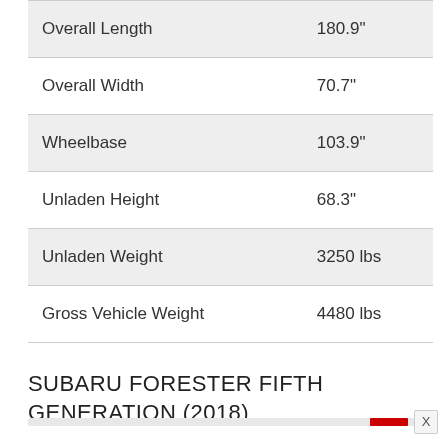| Specification | Value |
| --- | --- |
| Overall Length | 180.9" |
| Overall Width | 70.7" |
| Wheelbase | 103.9" |
| Unladen Height | 68.3" |
| Unladen Weight | 3250 lbs |
| Gross Vehicle Weight | 4480 lbs |
SUBARU FORESTER FIFTH GENERATION (2018)